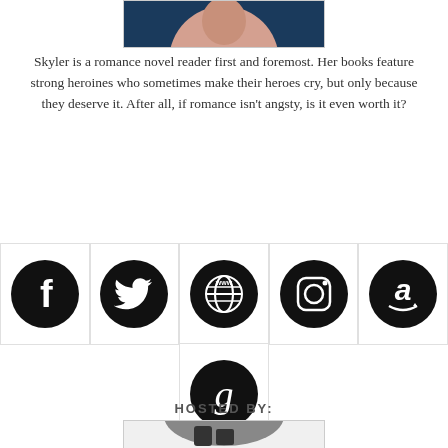[Figure (photo): Top portion of an author photo, cropped at the bottom]
Skyler is a romance novel reader first and foremost. Her books feature strong heroines who sometimes make their heroes cry, but only because they deserve it. After all, if romance isn't angsty, is it even worth it?
[Figure (infographic): Row of social media icons: Facebook, Twitter, Website (www globe), Instagram, Amazon]
[Figure (infographic): Goodreads icon (g in black circle)]
HOSTED BY:
[Figure (photo): Bottom portion of a host photo, partially visible]